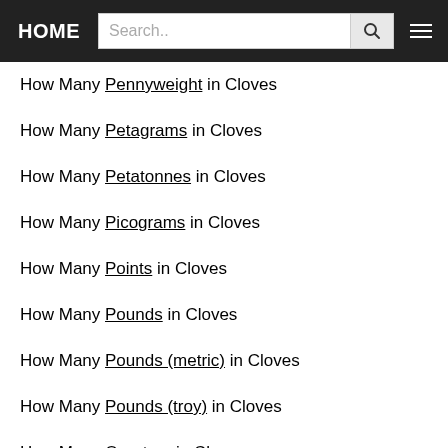HOME | Search..
How Many Pennyweight in Cloves
How Many Petagrams in Cloves
How Many Petatonnes in Cloves
How Many Picograms in Cloves
How Many Points in Cloves
How Many Pounds in Cloves
How Many Pounds (metric) in Cloves
How Many Pounds (troy) in Cloves
How Many Quarters in Cloves
How Many Quarters (long) in Cloves